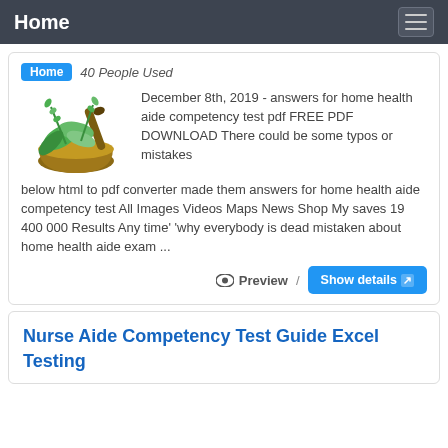Home
Home  40 People Used
[Figure (photo): Mortar and pestle with green herbs and leaves]
December 8th, 2019 - answers for home health aide competency test pdf FREE PDF DOWNLOAD There could be some typos or mistakes below html to pdf converter made them answers for home health aide competency test All Images Videos Maps News Shop My saves 19 400 000 Results Any time' 'why everybody is dead mistaken about home health aide exam ...
Preview / Show details
Nurse Aide Competency Test Guide Excel Testing